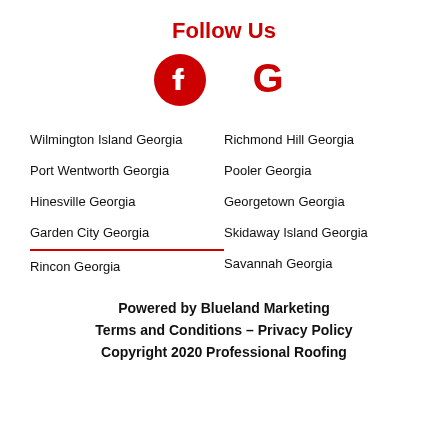Follow Us
[Figure (illustration): Facebook and Google social media icons in red]
Wilmington Island Georgia
Richmond Hill Georgia
Port Wentworth Georgia
Pooler Georgia
Hinesville Georgia
Georgetown Georgia
Garden City Georgia
Skidaway Island Georgia
Rincon Georgia
Savannah Georgia
Powered by Blueland Marketing
Terms and Conditions – Privacy Policy
Copyright 2020 Professional Roofing